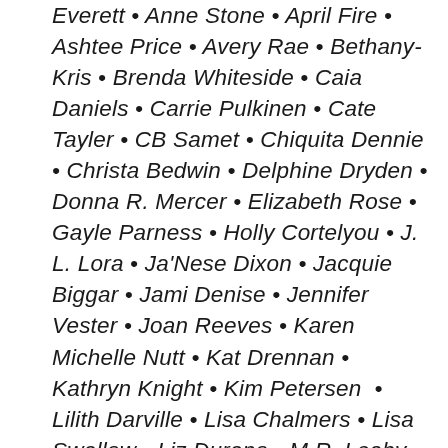Everett • Anne Stone • April Fire • Ashtee Price • Avery Rae • Bethany-Kris • Brenda Whiteside • Caia Daniels • Carrie Pulkinen • Cate Tayler • CB Samet • Chiquita Dennie • Christa Bedwin • Delphine Dryden • Donna R. Mercer • Elizabeth Rose • Gayle Parness • Holly Cortelyou • J. L. Lora • Ja'Nese Dixon • Jacquie Biggar • Jami Denise • Jennifer Vester • Joan Reeves • Karen Michelle Nutt • Kat Drennan • Kathryn Knight • Kim Petersen • Lilith Darville • Lisa Chalmers • Lisa Swallow • Liz Durano • M.R. Leahy • Mari Carr • Melissa Belle • Mia McKimmy • Michelle Jo Quinn • Nancy C. Weeks • Nina Crespo • Priscilla Oliveras • Quinn • Renee Ann Miller • S. R. Mallery • S.L. Sterling • Selena Kitt • Sherrie Morgan • Suzanne Jenkins • Sydney Aaliyah Michelle • Tara Sheets • Tara Wyatt • Tena